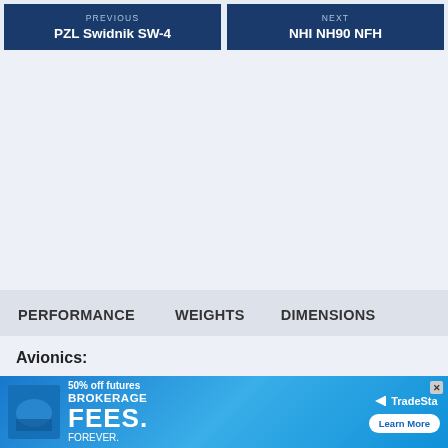PREVIOUS PZL Swidnik SW-4
NEXT NHI NH90 NFH
PERFORMANCE
WEIGHTS
DIMENSIONS
Avionics:
Eng
[Figure (infographic): Advertisement banner: BROKERAGE FEES. FOREVER. 50% off futures. TradeSta logo. Learn More button.]